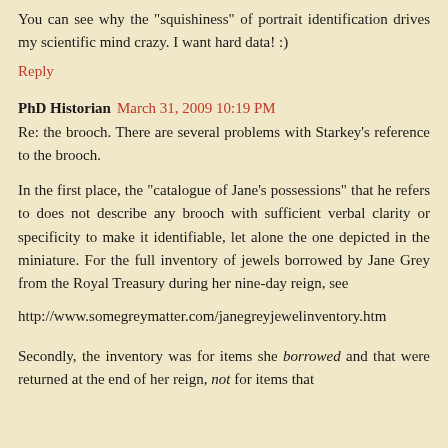You can see why the "squishiness" of portrait identification drives my scientific mind crazy. I want hard data! :)
Reply
PhD Historian March 31, 2009 10:19 PM
Re: the brooch. There are several problems with Starkey's reference to the brooch.
In the first place, the "catalogue of Jane's possessions" that he refers to does not describe any brooch with sufficient verbal clarity or specificity to make it identifiable, let alone the one depicted in the miniature. For the full inventory of jewels borrowed by Jane Grey from the Royal Treasury during her nine-day reign, see
http://www.somegreymatter.com/janegreyjewelinventory.htm
Secondly, the inventory was for items she borrowed and that were returned at the end of her reign, not for items that